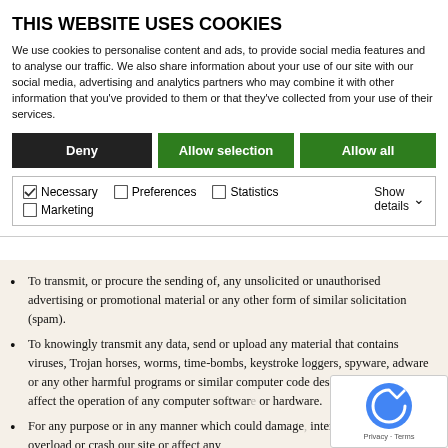THIS WEBSITE USES COOKIES
We use cookies to personalise content and ads, to provide social media features and to analyse our traffic. We also share information about your use of our site with our social media, advertising and analytics partners who may combine it with other information that you've provided to them or that they've collected from your use of their services.
To transmit, or procure the sending of, any unsolicited or unauthorised advertising or promotional material or any other form of similar solicitation (spam).
To knowingly transmit any data, send or upload any material that contains viruses, Trojan horses, worms, time-bombs, keystroke loggers, spyware, adware or any other harmful programs or similar computer code designed to adversely affect the operation of any computer software or hardware.
For any purpose or in any manner which could damage, interrupt, disable, overload or crash our site or affect any